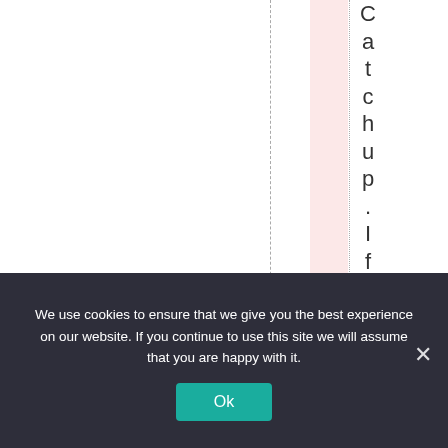[Figure (other): Web page layout with vertical text reading 'Catchup. If Jo could p...' written vertically, with dashed and dotted vertical guidelines and a pink highlighted column.]
We use cookies to ensure that we give you the best experience on our website. If you continue to use this site we will assume that you are happy with it.
Ok
×